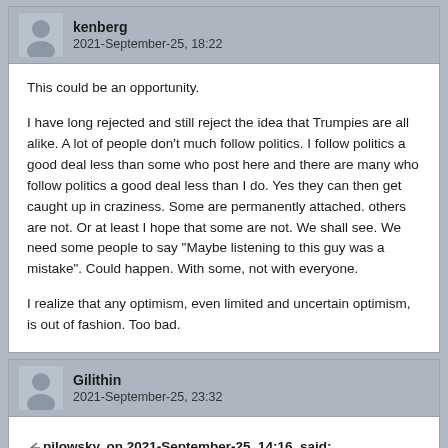kenberg
2021-September-25, 18:22
This could be an opportunity.

I have long rejected and still reject the idea that Trumpies are all alike. A lot of people don't much follow politics. I follow politics a good deal less than some who post here and there are many who follow politics a good deal less than I do. Yes they can then get caught up in craziness. Some are permanently attached. others are not. Or at least I hope that some are not. We shall see. We need some people to say "Maybe listening to this guy was a mistake". Could happen. With some, not with everyone.

I realize that any optimism, even limited and uncertain optimism, is out of fashion. Too bad.
Gilithin
2021-September-25, 23:32
pilowsky, on 2021-September-25, 14:16, said: